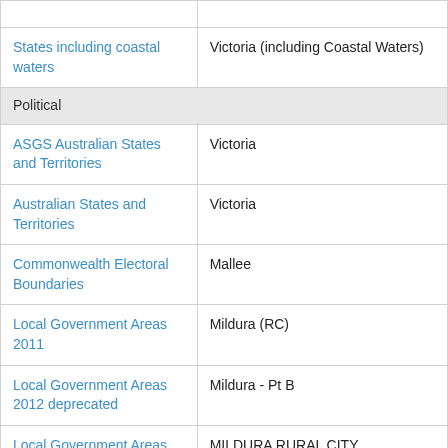| Category | Value |
| --- | --- |
| (truncated top row) |  |
| States including coastal waters | Victoria (including Coastal Waters) |
| Political |  |
| ASGS Australian States and Territories | Victoria |
| Australian States and Territories | Victoria |
| Commonwealth Electoral Boundaries | Mallee |
| Local Government Areas 2011 | Mildura (RC) |
| Local Government Areas 2012 deprecated | Mildura - Pt B |
| Local Government Areas PSMA 2018 | MILDURA RURAL CITY |
| Murray-Darling Basin Water Resource Planning | Dja Dja Wurrung, Latji Latji, Ngarket, Ngintait, Tati Tati, Wamba (truncated) |